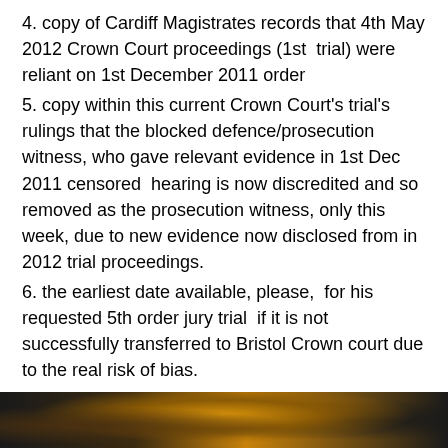4. copy of Cardiff Magistrates records that 4th May 2012 Crown Court proceedings (1st trial) were reliant on 1st December 2011 order
5. copy within this current Crown Court’s trial’s rulings that the blocked defence/prosecution witness, who gave relevant evidence in 1st Dec 2011 censored hearing is now discredited and so removed as the prosecution witness, only this week, due to new evidence now disclosed from in 2012 trial proceedings.
6. the earliest date available, please, for his requested 5th order jury trial if it is not successfully transferred to Bristol Crown court due to the real risk of bias.
No prosecution witnesses will need attend from Wales as he will accept their MG11 witness statements as true and both Crown Prosecutor and himself reside near by.
[Figure (photo): Dark photograph strip at bottom of page, showing indistinct figures with orange/amber lighting in the background.]